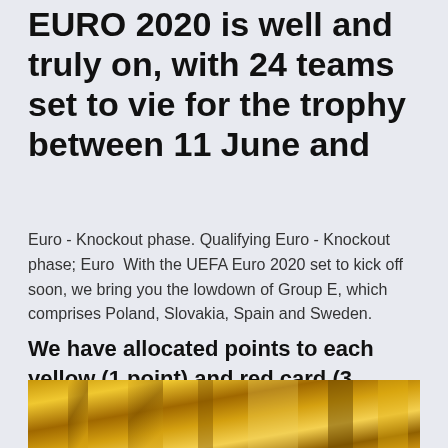EURO 2020 is well and truly on, with 24 teams set to vie for the trophy between 11 June and
Euro - Knockout phase. Qualifying Euro - Knockout phase; Euro  With the UEFA Euro 2020 set to kick off soon, we bring you the lowdown of Group E, which comprises Poland, Slovakia, Spain and Sweden.
We have allocated points to each yellow (1 point) and red card (3 points) for ranking purposes. Please note that this does not represent any official rankings.
[Figure (photo): Partial view of a golden trophy or award, cropped at the bottom of the page]